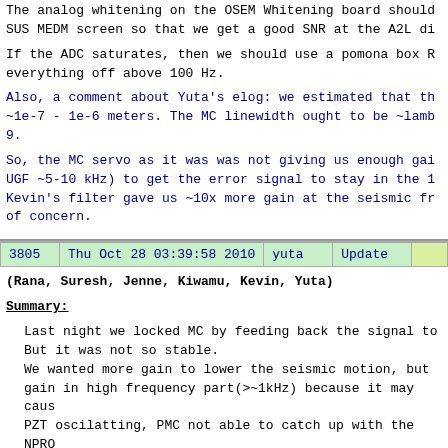The analog whitening on the OSEM Whitening board should SUS MEDM screen so that we get a good SNR at the A2L di
If the ADC saturates, then we should use a pomona box R everything off above 100 Hz.
Also, a comment about Yuta's elog: we estimated that th ~1e-7 - 1e-6 meters. The MC linewidth ought to be ~lamb 9.
So, the MC servo as it was was not giving us enough gai UGF ~5-10 kHz) to get the error signal to stay in the 1 Kevin's filter gave us ~10x more gain at the seismic fr of concern.
| 3805 | Thu Oct 28 03:39:58 2010 | yuta | Update |
| --- | --- | --- | --- |
(Rana, Suresh, Jenne, Kiwamu, Kevin, Yuta)
Summary:
Last night we locked MC by feeding back the signal to But it was not so stable. We wanted more gain to lower the seismic motion, but gain in high frequency part(>~1kHz) because it may caus PZT oscilatting, PMC not able to catch up with the NPRO etc). So, we put DC gain boost today.